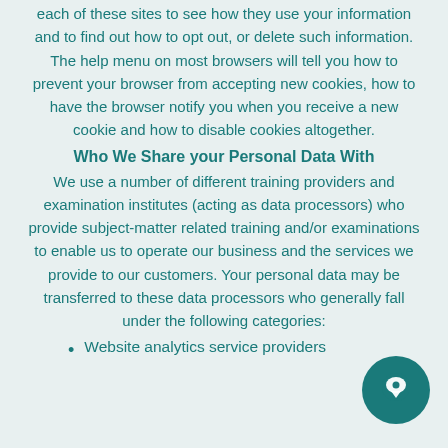each of these sites to see how they use your information and to find out how to opt out, or delete such information. The help menu on most browsers will tell you how to prevent your browser from accepting new cookies, how to have the browser notify you when you receive a new cookie and how to disable cookies altogether.
Who We Share your Personal Data With
We use a number of different training providers and examination institutes (acting as data processors) who provide subject-matter related training and/or examinations to enable us to operate our business and the services we provide to our customers. Your personal data may be transferred to these data processors who generally fall under the following categories:
Website analytics service providers